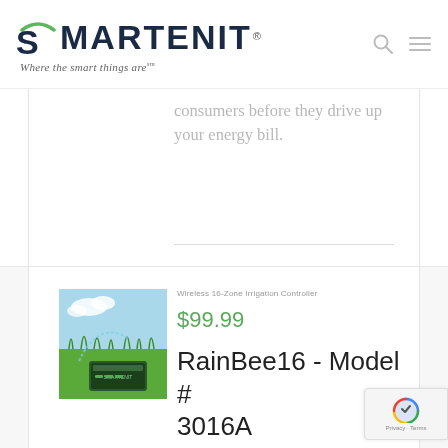[Figure (logo): SMARTENIT logo with green arc above S, tagline: Where the smart things are℠]
consumers before they drive up your energy bill.
Wireless 16-Zone Irrigation Controller
$99.99
RainBee16 - Model # 3016A
[Figure (photo): RainBee16 irrigation controller device on green grass with blue sky background]